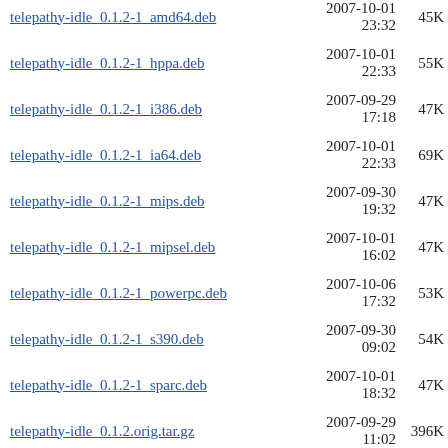telepathy-idle_0.1.2-1_amd64.deb  2007-10-01 23:32  45K
telepathy-idle_0.1.2-1_hppa.deb  2007-10-01 22:33  55K
telepathy-idle_0.1.2-1_i386.deb  2007-09-29 17:18  47K
telepathy-idle_0.1.2-1_ia64.deb  2007-10-01 22:33  69K
telepathy-idle_0.1.2-1_mips.deb  2007-09-30 19:32  47K
telepathy-idle_0.1.2-1_mipsel.deb  2007-10-01 16:02  47K
telepathy-idle_0.1.2-1_powerpc.deb  2007-10-06 17:32  53K
telepathy-idle_0.1.2-1_s390.deb  2007-09-30 09:02  54K
telepathy-idle_0.1.2-1_sparc.deb  2007-10-01 18:32  47K
telepathy-idle_0.1.2.orig.tar.gz  2007-09-29 11:02  396K
telepathy-idle_0.1.6-1.diff.gz  2010-02-19 15:43  4.2K
telepathy-idle_0.1.6-1.dsc  2010-02-19 15:43  1.6K